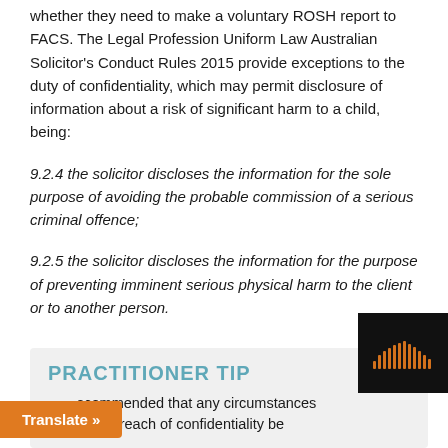whether they need to make a voluntary ROSH report to FACS. The Legal Profession Uniform Law Australian Solicitor's Conduct Rules 2015 provide exceptions to the duty of confidentiality, which may permit disclosure of information about a risk of significant harm to a child, being:
9.2.4 the solicitor discloses the information for the sole purpose of avoiding the probable commission of a serious criminal offence;
9.2.5 the solicitor discloses the information for the purpose of preventing imminent serious physical harm to the client or to another person.
PRACTITIONER TIP
recommended that any circumstances rise to a breach of confidentiality be